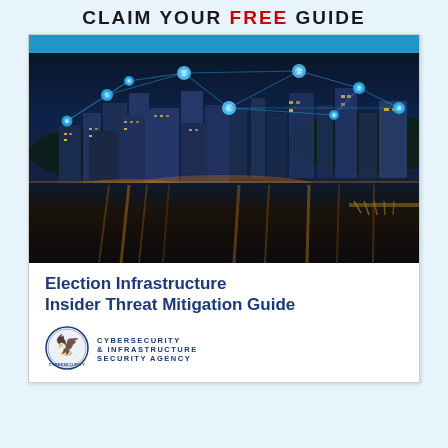CLAIM YOUR FREE GUIDE
[Figure (illustration): Book cover showing a nighttime city skyline with blue network connectivity nodes and lines overlaid, representing election infrastructure cybersecurity theme]
Election Infrastructure Insider Threat Mitigation Guide
[Figure (logo): CISA Cybersecurity and Infrastructure Security Agency logo — circular seal with text]